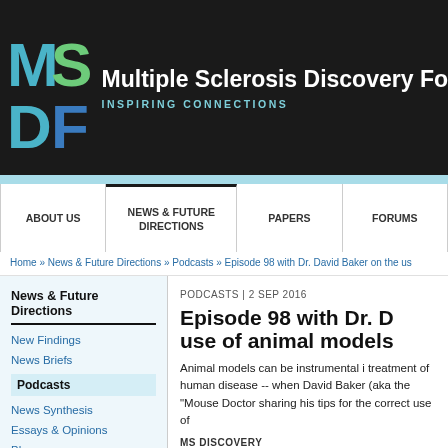[Figure (logo): MSDF logo with M in blue and S in green on left, D below M in teal and F below S in blue, on black background]
Multiple Sclerosis Discovery Fo
INSPIRING CONNECTIONS
ABOUT US | NEWS & FUTURE DIRECTIONS | PAPERS | FORUMS
Home » News & Future Directions » Podcasts » Episode 98 with Dr. David Baker on the us
News & Future Directions
New Findings
News Briefs
Podcasts
News Synthesis
Essays & Opinions
Blogs
Contents of this article
PODCASTS | 2 SEP 2016
Episode 98 with Dr. D use of animal models
Animal models can be instrumental i treatment of human disease -- when David Baker (aka the "Mouse Doctor sharing his tips for the correct use of
MS DISCOVERY